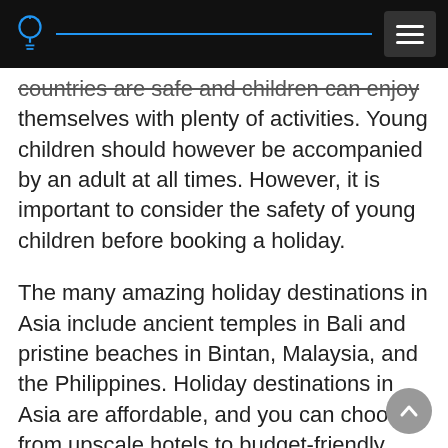[Header with lightbulb icon, blue line, and hamburger menu]
countries are safe and children can enjoy themselves with plenty of activities. Young children should however be accompanied by an adult at all times. However, it is important to consider the safety of young children before booking a holiday.
The many amazing holiday destinations in Asia include ancient temples in Bali and pristine beaches in Bintan, Malaysia, and the Philippines. Holiday destinations in Asia are affordable, and you can choose from upscale hotels to budget-friendly resorts. Beach holiday destinations in Asia are perfect for families. Many destinations have safe beaches, so even young children can enjoy the beach. While it may be expensive to book a luxury holiday in the Philippines, there are plenty of other family-friendly destinations in Asia...